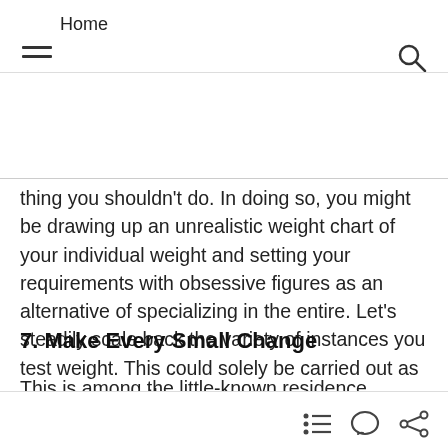Home
thing you shouldn't do. In doing so, you might be drawing up an unrealistic weight chart of your individual weight and setting your requirements with obsessive figures as an alternative of specializing in the entire. Let’s steadily scale back the variety of instances you test weight. This could solely be carried out as soon as a month.
7. Make Every Small Change
This is among the little-known residence treatments for anorexia nervosa. Please cherish each little